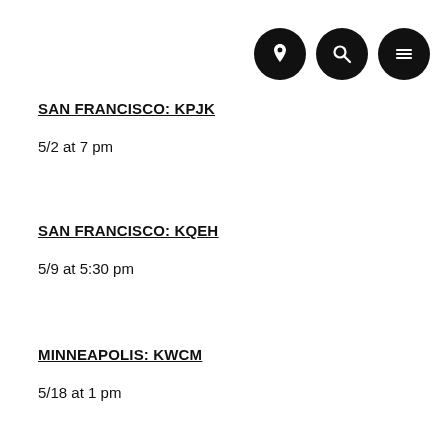[Figure (other): Three black circular icon buttons: location pin, search/magnifier, and hamburger menu]
SAN FRANCISCO: KPJK
5/2 at 7 pm
SAN FRANCISCO: KQEH
5/9 at 5:30 pm
MINNEAPOLIS: KWCM
5/18 at 1 pm